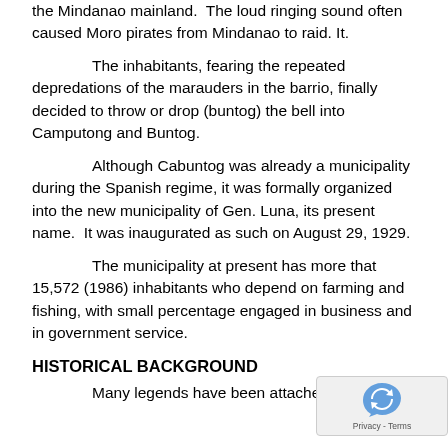the Mindanao mainland.  The loud ringing sound often caused Moro pirates from Mindanao to raid. It.
The inhabitants, fearing the repeated depredations of the marauders in the barrio, finally decided to throw or drop (buntog) the bell into Camputong and Buntog.
Although Cabuntog was already a municipality during the Spanish regime, it was formally organized into the new municipality of Gen. Luna, its present name.  It was inaugurated as such on August 29, 1929.
The municipality at present has more that 15,572 (1986) inhabitants who depend on farming and fishing, with small percentage engaged in business and in government service.
HISTORICAL BACKGROUND
Many legends have been attached to the rea... the li... in the...